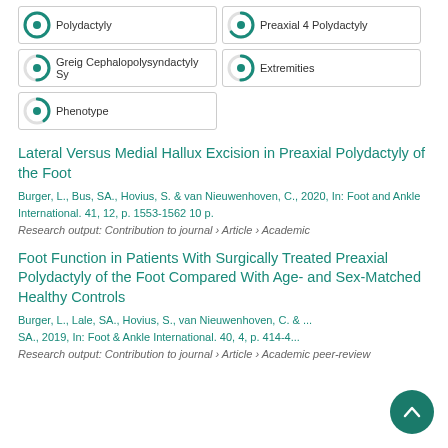100% Polydactyly
65% Preaxial 4 Polydactyly
50% Greig Cephalopolysyndactyly Sy
50% Extremities
40% Phenotype
Lateral Versus Medial Hallux Excision in Preaxial Polydactyly of the Foot
Burger, L., Bus, SA., Hovius, S. & van Nieuwenhoven, C., 2020, In: Foot and Ankle International. 41, 12, p. 1553-1562 10 p.
Research output: Contribution to journal › Article › Academic
Foot Function in Patients With Surgically Treated Preaxial Polydactyly of the Foot Compared With Age- and Sex-Matched Healthy Controls
Burger, L., Lale, SA., Hovius, S., van Nieuwenhoven, C. & ..., SA., 2019, In: Foot & Ankle International. 40, 4, p. 414-4...
Research output: Contribution to journal › Article › Academic peer-review